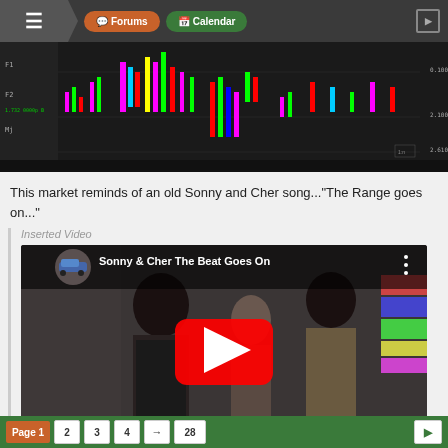Forums | Calendar
[Figure (screenshot): Trading chart showing candlestick/bar data with colored markers over a date range from July to August, with price levels around 2.100-2.610]
This market reminds of an old Sonny and Cher song..."The Range goes on..."
Inserted Video
[Figure (screenshot): YouTube video thumbnail for 'Sonny & Cher The Beat Goes On' showing two people standing in a room with a red YouTube play button overlay]
Page 1  2  3  4  →  28